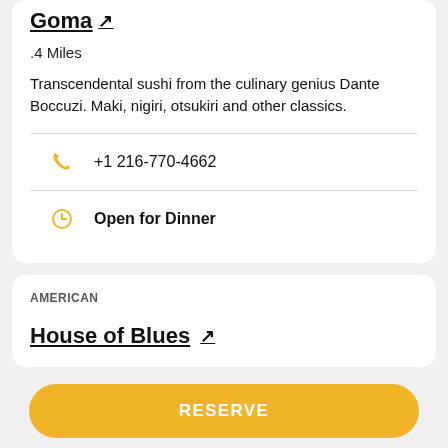Goma ↗
.4 Miles
Transcendental sushi from the culinary genius Dante Boccuzi. Maki, nigiri, otsukiri and other classics.
+1 216-770-4662
Open for Dinner
AMERICAN
House of Blues ↗
RESERVE